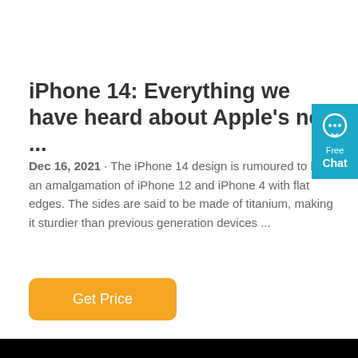iPhone 14: Everything we have heard about Apple's next ...
Dec 16, 2021 · The iPhone 14 design is rumoured to be an amalgamation of iPhone 12 and iPhone 4 with flat edges. The sides are said to be made of titanium, making it sturdier than previous generation devices ...
[Figure (other): Orange 'Get Price' button]
[Figure (other): Blue chat widget on right side showing a speech bubble icon with 'Free Chat' label]
[Figure (photo): Dark photo of a mechanical keyboard with blue LED backlit keys against a black background]